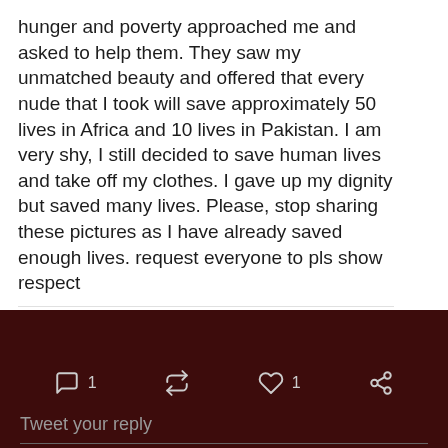hunger and poverty approached me and asked to help them.  They saw my unmatched beauty and offered that every nude that I took will save approximately 50 lives in Africa and 10 lives in Pakistan.   I am very shy, I still decided to save human lives and take off my clothes. I gave up my dignity but saved many lives. Please, stop sharing these pictures as I have already saved enough lives. request everyone to pls show respect
[Figure (screenshot): Facebook post action buttons: Like, Comment, Share icons with labels]
[Figure (screenshot): Twitter interaction section with dark brown background showing reply count 1, retweet icon, like count 1, share icon, Tweet your reply input box, and bottom navigation icons]